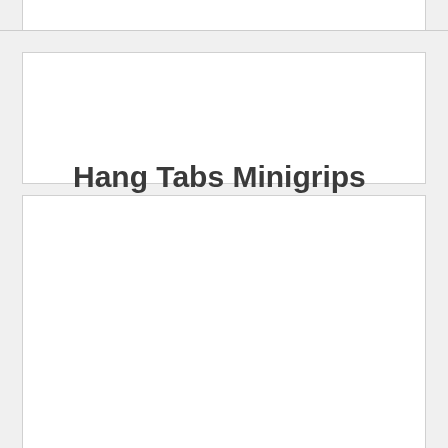Hang Tabs Minigrips
[Figure (photo): Product photo showing hang tabs minigrips being applied to packaged products on a retail display hook. Close-up of hands holding packaged items with plastic hang tab clips attached, mounted on a metal pegboard hook against a dark background.]